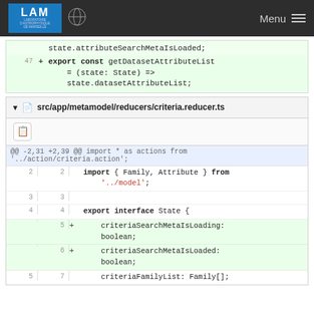LAM | Menu
state.attributeSearchMetaIsLoaded;
47 + export const getDatasetAttributeList
    = (state: State) =>
    state.datasetAttributeList;
src/app/metamodel/reducers/criteria.reducer.ts
@@ -2,31 +2,39 @@ import * as actions from '../action/criteria.action';
2  2  import { Family, Attribute } from '../model';
3  3
4  4  export interface State {
   5  +    criteriaSearchMetaIsLoading: boolean;
   6  +    criteriaSearchMetaIsLoaded: boolean;
5  7      criteriaFamilyList: Family[];